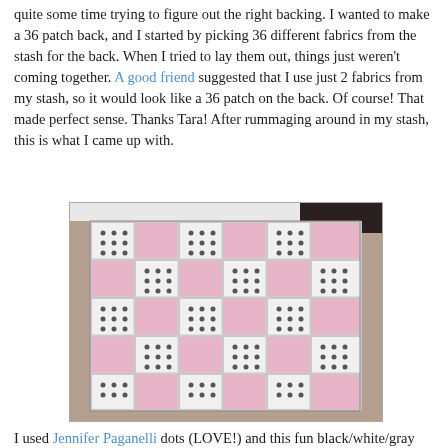quite some time trying to figure out the right backing. I wanted to make a 36 patch back, and I started by picking 36 different fabrics from the stash for the back. When I tried to lay them out, things just weren't coming together. A good friend suggested that I use just 2 fabrics from my stash, so it would look like a 36 patch on the back. Of course! That made perfect sense. Thanks Tara! After rummaging around in my stash, this is what I came up with.
[Figure (photo): A pink and white/gray polka dot patchwork quilt back displayed against a tan siding background. The quilt shows a 36-patch pattern using two alternating fabrics: solid pink squares and white fabric with dark polka dots.]
I used Jennifer Paganelli dots (LOVE!) and this fun black/white/gray print from Prints Charming. The backing